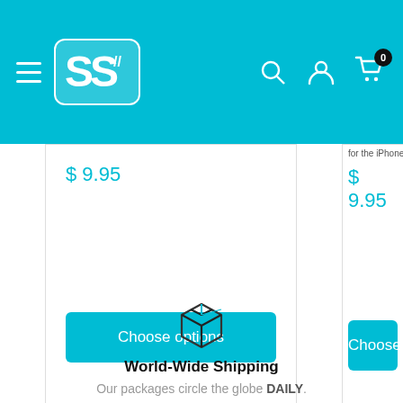[Figure (logo): Blue navigation header with hamburger menu, S-logo in white rounded rectangle, search icon, user icon, and cart icon with badge showing 0]
$ 9.95
$ 9.95
Choose options
Choose o
World-Wide Shipping
Our packages circle the globe DAILY.